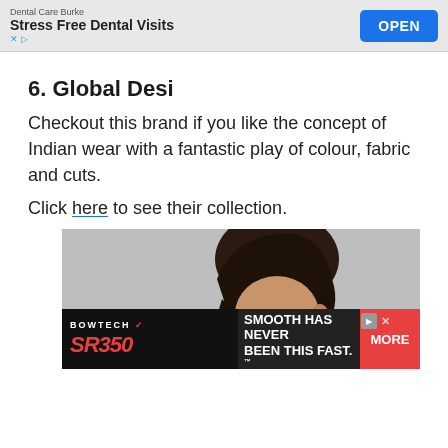[Figure (screenshot): Advertisement banner for Dental Care Burke - Stress Free Dental Visits with OPEN button]
6. Global Desi
Checkout this brand if you like the concept of Indian wear with a fantastic play of colour, fabric and cuts.
Click here to see their collection.
[Figure (photo): Photo of a woman with dark hair looking down, with a Bowtech SR350 advertisement banner overlaid at the bottom reading SMOOTH HAS NEVER BEEN THIS FAST.]